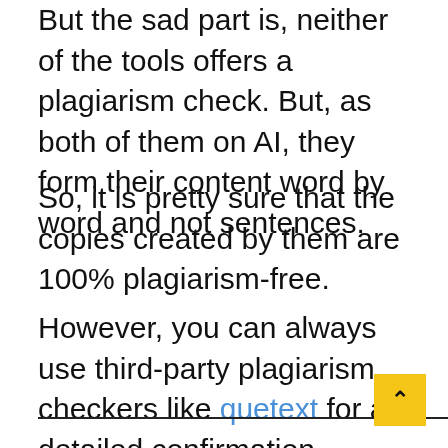But the sad part is, neither of the tools offers a plagiarism check. But, as both of them on AI, they form their content word by word and not sentences.
So, it is pretty sure that the copies created by them are 100% plagiarism-free.
However, you can always use third-party plagiarism checkers like quetext for a detailed confirmation.
___